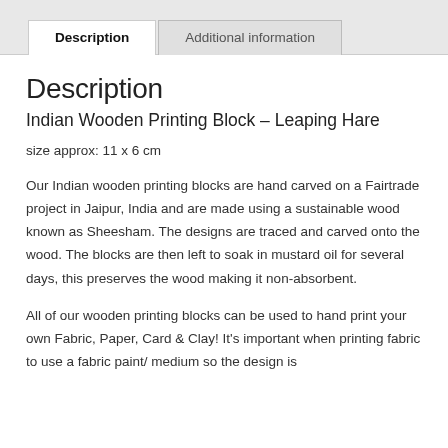Description
Additional information
Description
Indian Wooden Printing Block – Leaping Hare
size approx: 11 x 6 cm
Our Indian wooden printing blocks are hand carved on a Fairtrade project in Jaipur, India and are made using a sustainable wood known as Sheesham. The designs are traced and carved onto the wood. The blocks are then left to soak in mustard oil for several days, this preserves the wood making it non-absorbent.
All of our wooden printing blocks can be used to hand print your own Fabric, Paper, Card & Clay! It's important when printing fabric to use a fabric paint/ medium so the design is